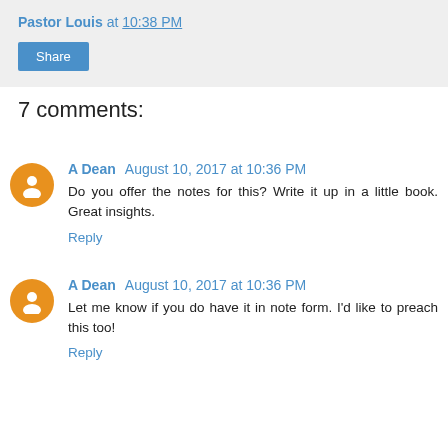Pastor Louis at 10:38 PM
Share
7 comments:
A Dean  August 10, 2017 at 10:36 PM
Do you offer the notes for this? Write it up in a little book. Great insights.
Reply
A Dean  August 10, 2017 at 10:36 PM
Let me know if you do have it in note form. I'd like to preach this too!
Reply